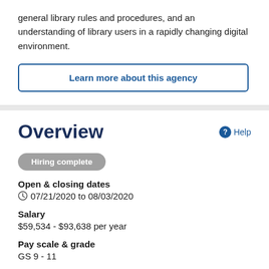general library rules and procedures, and an understanding of library users in a rapidly changing digital environment.
Learn more about this agency
Overview
Hiring complete
Open & closing dates
07/21/2020 to 08/03/2020
Salary
$59,534 - $93,638 per year
Pay scale & grade
GS 9 - 11